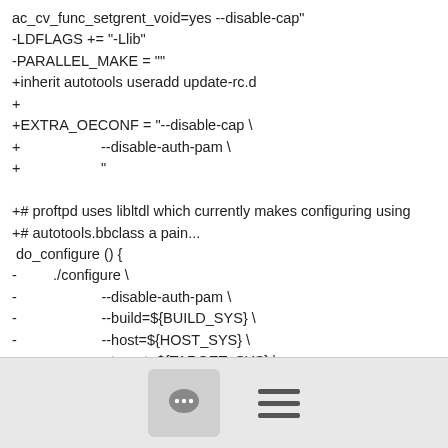ac_cv_func_setgrent_void=yes --disable-cap"
-LDFLAGS += "-Llib"
-PARALLEL_MAKE = ""
+inherit autotools useradd update-rc.d
+
+EXTRA_OECONF = "--disable-cap \
+                    --disable-auth-pam \
+                    "

+# proftpd uses libltdl which currently makes configuring using
+# autotools.bbclass a pain...
 do_configure () {
-         ./configure \
-                     --disable-auth-pam \
-                     --build=${BUILD_SYS} \
-                     --host=${HOST_SYS} \
-                     --target=${TARGET_SYS} \
-                     --prefix=/usr \
-                     --sysconfdir=/etc \
[Figure (other): Footer bar with comment bubble icon button and hamburger menu icon]